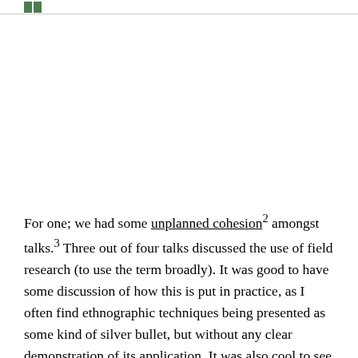For one; we had some unplanned cohesion² amongst talks.³ Three out of four talks discussed the use of field research (to use the term broadly). It was good to have some discussion of how this is put in practice, as I often find ethnographic techniques being presented as some kind of silver bullet, but without any clear demonstration of its application. It was also cool to see field research being applied